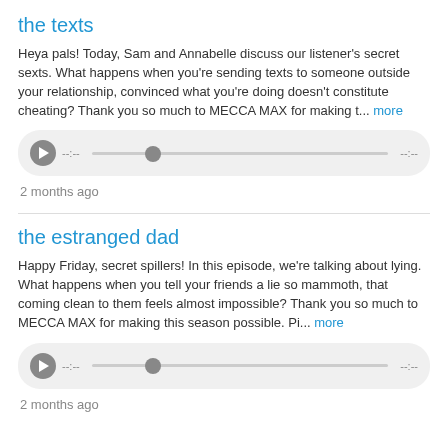the texts
Heya pals! Today, Sam and Annabelle discuss our listener's secret sexts. What happens when you're sending texts to someone outside your relationship, convinced what you're doing doesn't constitute cheating? Thank you so much to MECCA MAX for making t... more
[Figure (other): Audio player with play button, seek bar and time indicators showing --:-- and --:--]
2 months ago
the estranged dad
Happy Friday, secret spillers! In this episode, we're talking about lying. What happens when you tell your friends a lie so mammoth, that coming clean to them feels almost impossible? Thank you so much to MECCA MAX for making this season possible. Pi... more
[Figure (other): Audio player with play button, seek bar and time indicators showing --:-- and --:--]
2 months ago